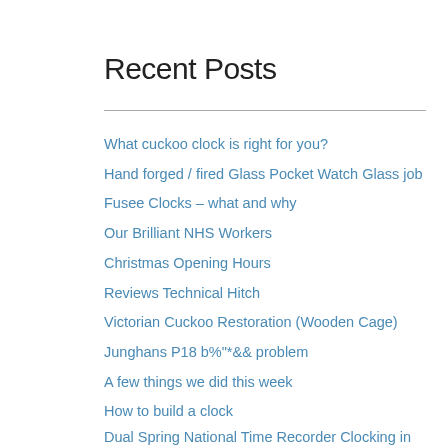Recent Posts
What cuckoo clock is right for you?
Hand forged / fired Glass Pocket Watch Glass job
Fusee Clocks – what and why
Our Brilliant NHS Workers
Christmas Opening Hours
Reviews Technical Hitch
Victorian Cuckoo Restoration (Wooden Cage)
Junghans P18 b%"*&& problem
A few things we did this week
How to build a clock
Dual Spring National Time Recorder Clocking in clock – why two springs? Explained.
Testing the Pendulum on and Electric Clock – fitting a quartz pendulum movement
Guest Blogger Phil Harris – Clock Curator at The Black